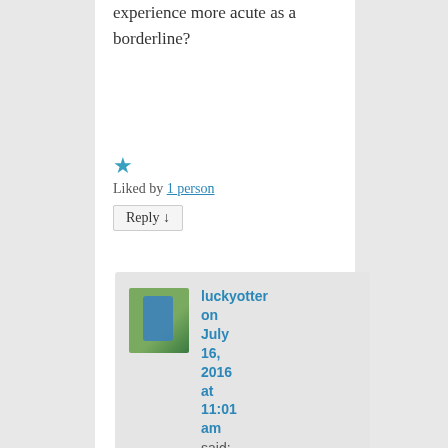experience more acute as a borderline?
★ Liked by 1 person
Reply ↓
[Figure (photo): Avatar photo of luckyotter, a person in a blue shirt standing outdoors near a tree]
luckyotter on July 16, 2016 at 11:01 am said:
Possibly. I also have C-PTSD.